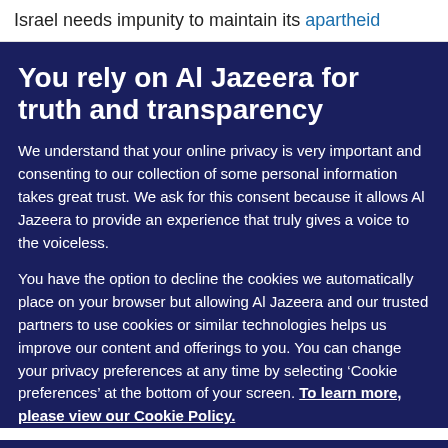Israel needs impunity to maintain its apartheid
You rely on Al Jazeera for truth and transparency
We understand that your online privacy is very important and consenting to our collection of some personal information takes great trust. We ask for this consent because it allows Al Jazeera to provide an experience that truly gives a voice to the voiceless.
You have the option to decline the cookies we automatically place on your browser but allowing Al Jazeera and our trusted partners to use cookies or similar technologies helps us improve our content and offerings to you. You can change your privacy preferences at any time by selecting ‘Cookie preferences’ at the bottom of your screen. To learn more, please view our Cookie Policy.